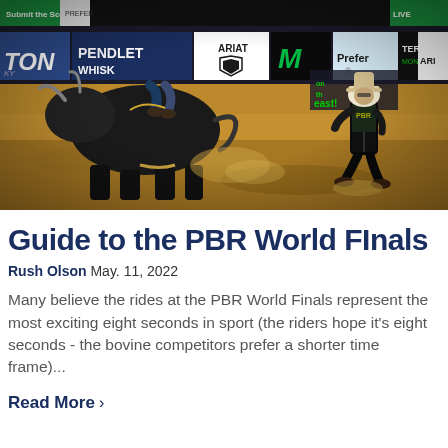[Figure (photo): Action photo of a bull rider at the PBR World Finals arena. A large black bull is bucking in the dirt arena. A bullfighter in black gear is running nearby. Arena features sponsor banners including Pendleton Whisky, Ariat, Monster Energy, and Prefer. Dirt-covered arena floor visible.]
Guide to the PBR World FInals
Rush Olson May. 11, 2022
Many believe the rides at the PBR World Finals represent the most exciting eight seconds in sport (the riders hope it's eight seconds - the bovine competitors prefer a shorter time frame)...
Read More ›